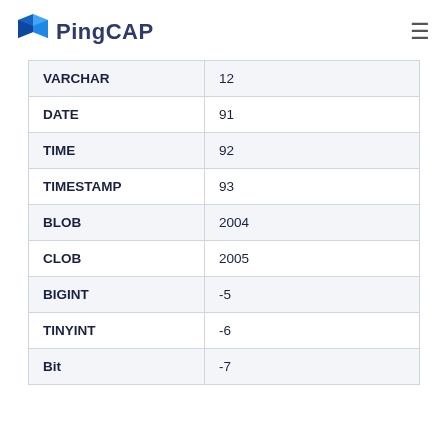PingCAP
| VARCHAR | 12 |
| DATE | 91 |
| TIME | 92 |
| TIMESTAMP | 93 |
| BLOB | 2004 |
| CLOB | 2005 |
| BIGINT | -5 |
| TINYINT | -6 |
| Bit | -7 |